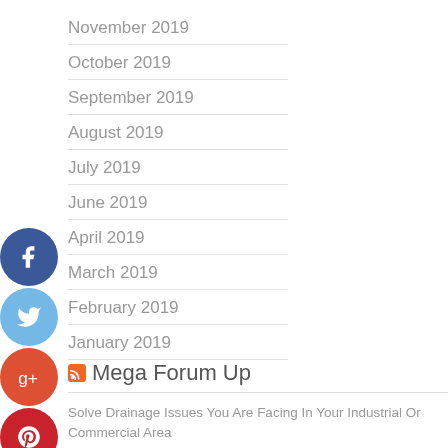November 2019
October 2019
September 2019
August 2019
July 2019
June 2019
April 2019
March 2019
February 2019
January 2019
[Figure (infographic): Social media share buttons: Facebook, Twitter, Google+, Pinterest, LinkedIn, Tumblr]
Mega Forum Up
Solve Drainage Issues You Are Facing In Your Industrial Or Commercial Area